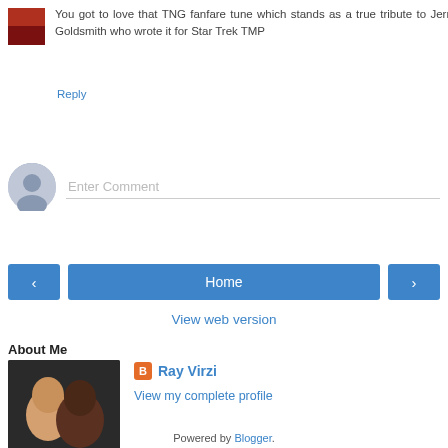You got to love that TNG fanfare tune which stands as a true tribute to Jerry Goldsmith who wrote it for Star Trek TMP
Reply
[Figure (other): Enter Comment input box with user avatar icon]
[Figure (other): Navigation buttons: left arrow, Home, right arrow]
View web version
About Me
[Figure (photo): Profile photo of Ray Virzi with another person]
Ray Virzi
View my complete profile
Powered by Blogger.